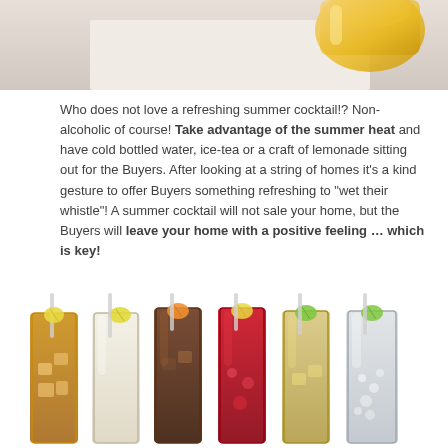[Figure (photo): Partial top photo of a yellow/golden drink in a glass on a white surface]
Who does not love a refreshing summer cocktail!? Non-alcoholic of course! Take advantage of the summer heat and have cold bottled water, ice-tea or a craft of lemonade sitting out for the Buyers. After looking at a string of homes it's a kind gesture to offer Buyers something refreshing to "wet their whistle"! A summer cocktail will not sale your home, but the Buyers will leave your home with a positive feeling … which is key!
[Figure (photo): Six tall glasses with various iced drinks garnished with lemon/lime slices — amber, clear, dark cola, red cranberry, light tea, and sparkling water]